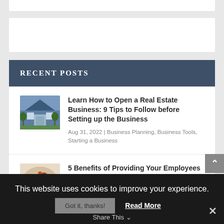RECENT POSTS
Learn How to Open a Real Estate Business: 9 Tips to Follow before Setting up the Business
Aug 31, 2022 | Business Planning, Business Tools, Starting a Business
5 Benefits of Providing Your Employees with Snack Catering
Aug 31, 2022 | Business Ideas, Employees, Motivation, Productivity
This website uses cookies to improve your experience.
Got it, thanks! Read More
Share This ✓